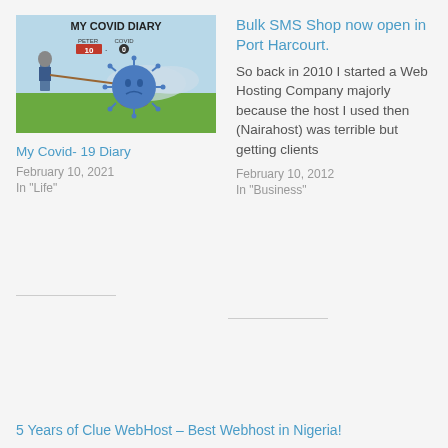[Figure (illustration): My Covid Diary book cover illustration showing a knight and a sad blue coronavirus ball with text 'MY COVID DIARY PETER 10 COVID 0']
My Covid- 19 Diary
February 10, 2021
In "Life"
Bulk SMS Shop now open in Port Harcourt.
So back in 2010 I started a Web Hosting Company majorly because the host I used then (Nairahost) was terrible but getting clients
February 10, 2012
In "Business"
5 Years of Clue WebHost – Best Webhost in Nigeria!